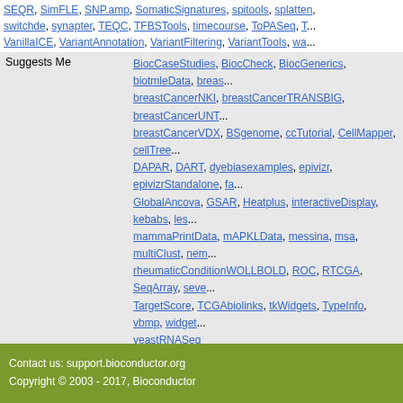SEQR, SimFLE, SNP.amp, SomaticSignatures, spitools, splatten, switchde, synapter, TEQC, TFBSTools, timecourse, ToPASeq, T..., VanillaICE, VariantAnnotation, VariantFiltering, VariantTools, wa...
| Suggests Me | BiocCaseStudies, BiocCheck, BiocGenerics, biotmleData, breas..., breastCancerNKI, breastCancerTRANSBIG, breastCancerUNT..., breastCancerVDX, BSgenome, ccTutorial, CellMapper, cellTree..., DAPAR, DART, dyebiasexamples, epivizr, epivizrStandalone, fa..., GlobalAncova, GSAR, Heatplus, interactiveDisplay, kebabs, les..., mammaPrintData, mAPKLData, messina, msa, multiClust, nem..., rheumaticConditionWOLLBOLD, ROC, RTCGA, SeqArray, seve..., TargetScore, TCGAbiolinks, tkWidgets, TypeInfo, vbmp, widget..., yeastRNASeq |
Build Report
Package Archives
Follow Installation instructions to use this package in your R session.
|  |  |
| --- | --- |
| Source Package | Biobase_2.36.2.tar.gz |
| Windows Binary | Biobase_2.36.2.zip (32- & 64-bit) |
| Mac OS X 10.11 (El Capitan) | Biobase_2.36.2.tgz |
| Source Repository | git clone https://git.bioconductor.org/packages/Biobase |
| Package Short Url | http://bioconductor.org/packages/Biobase/ |
| Package Downloads Report | Download Stats |
Contact us: support.bioconductor.org
Copyright © 2003 - 2017, Bioconductor